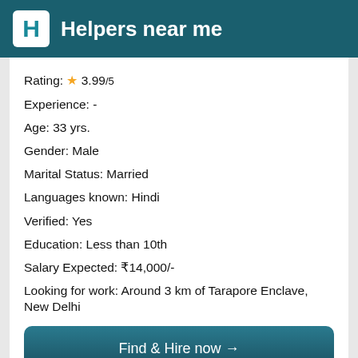Helpers near me
Rating: ★ 3.99/5
Experience: -
Age: 33 yrs.
Gender: Male
Marital Status: Married
Languages known: Hindi
Verified: Yes
Education: Less than 10th
Salary Expected: ₹14,000/-
Looking for work: Around 3 km of Tarapore Enclave, New Delhi
Find & Hire now →